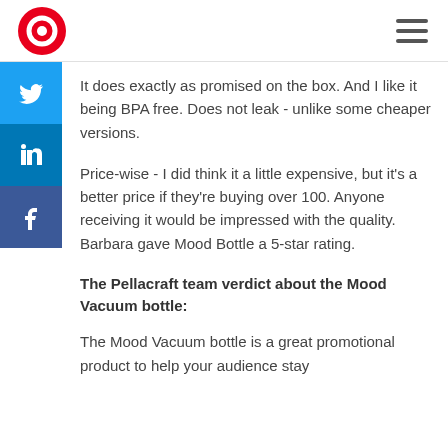Pellacraft logo and navigation
It does exactly as promised on the box. And I like it being BPA free. Does not leak - unlike some cheaper versions.
Price-wise - I did think it a little expensive, but it's a better price if they're buying over 100. Anyone receiving it would be impressed with the quality. Barbara gave Mood Bottle a 5-star rating.
The Pellacraft team verdict about the Mood Vacuum bottle:
The Mood Vacuum bottle is a great promotional product to help your audience stay